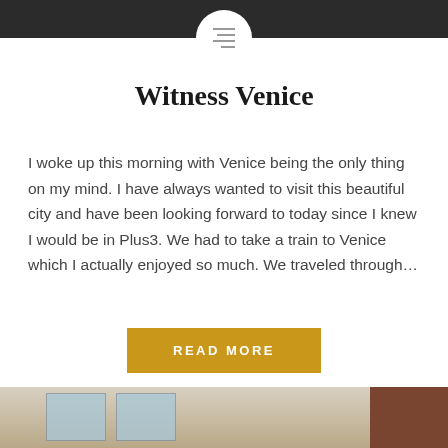Witness Venice
I woke up this morning with Venice being the only thing on my mind. I have always wanted to visit this beautiful city and have been looking forward to today since I knew I would be in Plus3. We had to take a train to Venice which I actually enjoyed so much. We traveled through…
READ MORE
[Figure (photo): Interior room photo showing windows with bright daylight outside, beige walls, and a wooden panel on the right side. A person is partially visible at the bottom left.]